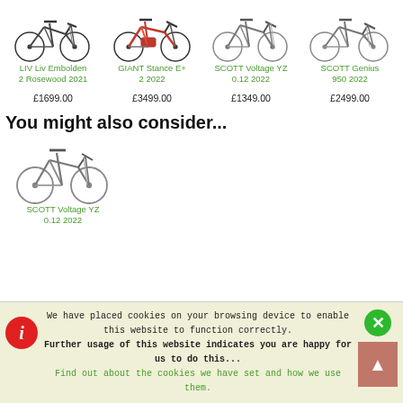[Figure (other): LIV Liv Embolden 2 Rosewood 2021 mountain bike product image]
LIV Liv Embolden 2 Rosewood 2021
£1699.00
[Figure (other): GIANT Stance E+ 2 2022 mountain bike product image]
GIANT Stance E+ 2 2022
£3499.00
[Figure (other): SCOTT Voltage YZ 0.12 2022 mountain bike product image]
SCOTT Voltage YZ 0.12 2022
£1349.00
[Figure (other): SCOTT Genius 950 2022 mountain bike product image]
SCOTT Genius 950 2022
£2499.00
You might also consider...
[Figure (other): SCOTT Voltage YZ 0.12 2022 mountain bike product image]
SCOTT Voltage YZ 0.12 2022
We have placed cookies on your browsing device to enable this website to function correctly. Further usage of this website indicates you are happy for us to do this... Find out about the cookies we have set and how we use them.